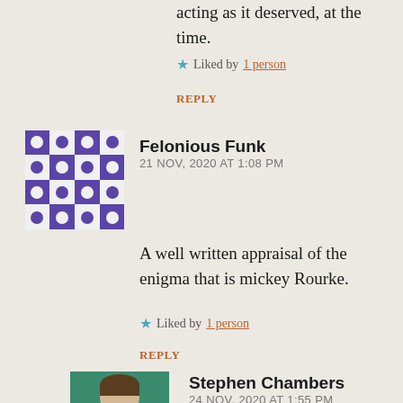acting as it deserved, at the time.
★ Liked by 1 person
REPLY
[Figure (illustration): Avatar for Felonious Funk: a blue and white geometric mosaic pattern]
Felonious Funk
21 NOV, 2020 AT 1:08 PM
A well written appraisal of the enigma that is mickey Rourke.
★ Liked by 1 person
REPLY
[Figure (photo): Profile photo of Stephen Chambers: young man in white shirt against green background]
Stephen Chambers
24 NOV, 2020 AT 1:55 PM
Thanks so much. Just watched 9 &1/2